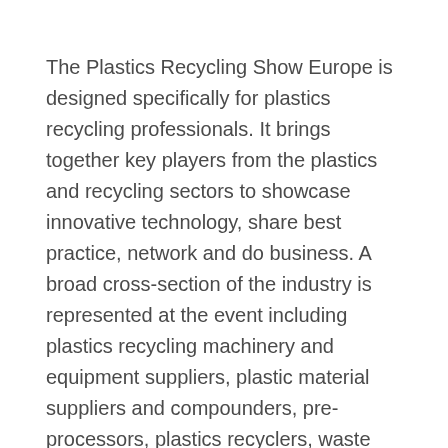The Plastics Recycling Show Europe is designed specifically for plastics recycling professionals. It brings together key players from the plastics and recycling sectors to showcase innovative technology, share best practice, network and do business. A broad cross-section of the industry is represented at the event including plastics recycling machinery and equipment suppliers, plastic material suppliers and compounders, pre-processors, plastics recyclers, waste management specialists and industry associations.
Over 200 companies and organisations from across Europe have already signed up to exhibit at what will be by far the largest PRSE show to date including: Aimplas, Berry Global, Bollegraaf, Ettlinger, Evonik, FIMIC, Kraton